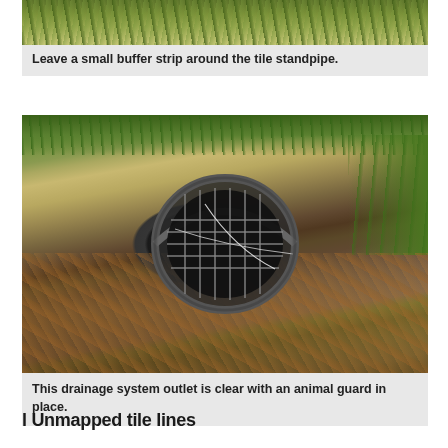[Figure (photo): Partial photo of grass and vegetation near a tile standpipe, top portion only visible]
Leave a small buffer strip around the tile standpipe.
[Figure (photo): A drainage system outlet pipe embedded in a hillside bank covered with dead leaves and vegetation, with a metal animal guard grate visible inside the corrugated pipe opening]
This drainage system outlet is clear with an animal guard in place.
l Unmapped tile lines